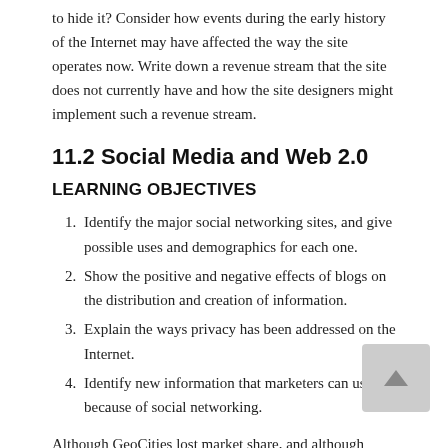to hide it? Consider how events during the early history of the Internet may have affected the way the site operates now. Write down a revenue stream that the site does not currently have and how the site designers might implement such a revenue stream.
11.2 Social Media and Web 2.0
LEARNING OBJECTIVES
Identify the major social networking sites, and give possible uses and demographics for each one.
Show the positive and negative effects of blogs on the distribution and creation of information.
Explain the ways privacy has been addressed on the Internet.
Identify new information that marketers can use because of social networking.
Although GeoCities lost market share, and although theGlobe.com never really made it to the 21st